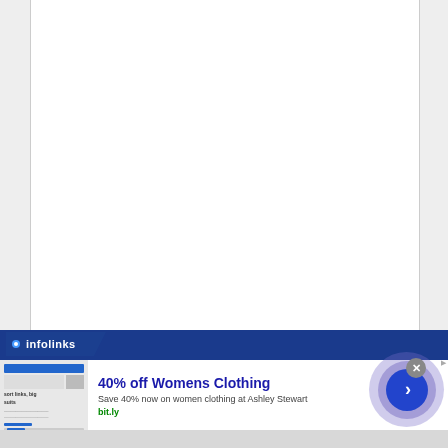[Figure (screenshot): Infolinks advertisement banner overlay on a webpage. The top portion shows a white blank webpage area with light gray sidebars. At the bottom is the Infolinks branded bar in dark navy blue, followed by an advertisement for '40% off Womens Clothing' by Ashley Stewart with the URL bit.ly. The ad includes a thumbnail image on the left, headline text in blue, description in gray, and a circular arrow/play button on the right. A close button (X) appears at the top right of the ad.]
40% off Womens Clothing
Save 40% now on women clothing at Ashley Stewart
bit.ly